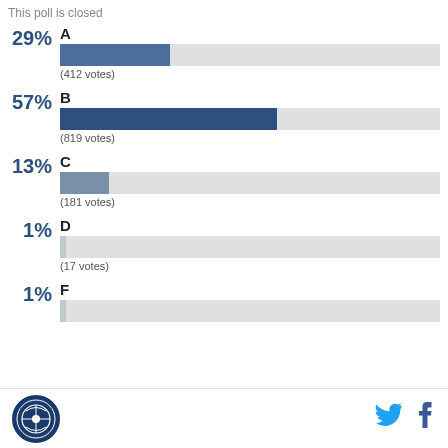This poll is closed
[Figure (bar-chart): Poll Results]
Logo | Twitter | Facebook